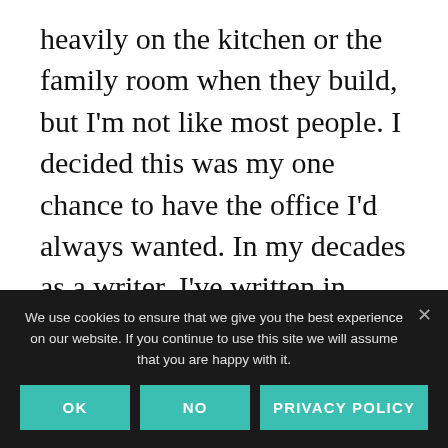heavily on the kitchen or the family room when they build, but I'm not like most people. I decided this was my one chance to have the office I'd always wanted. In my decades as a writer, I've written in some strange places. I've had offices in my den, my bedroom, a shed in my backyard, a dining room, and even in an office space I rented away from home. I'd never found a place that seemed just right for me, so it
We use cookies to ensure that we give you the best experience on our website. If you continue to use this site we will assume that you are happy with it.
OK
NO
PRIVACY POLICY